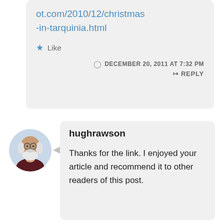ot.com/2010/12/christmas-in-tarquinia.html
Like
DECEMBER 20, 2011 AT 7:32 PM
REPLY
[Figure (photo): Avatar of user hughrawson: elderly man with white beard, circular crop]
hughrawson
Thanks for the link. I enjoyed your article and recommend it to other readers of this post.